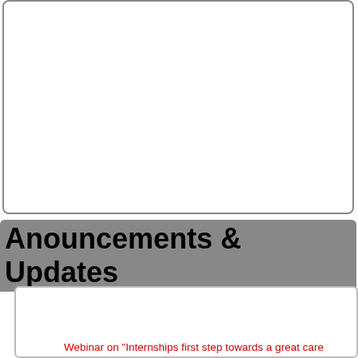[Figure (other): Empty white rounded rectangle box at top of page]
Anouncements & Updates
Webinar on "Internships first step towards a great care..."